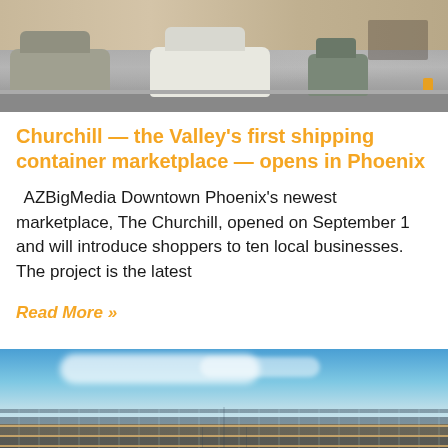[Figure (photo): Street scene with parked cars including a gray SUV and white sedan, with building facades in the background and an orange fire hydrant on the right]
Churchill — the Valley's first shipping container marketplace — opens in Phoenix
AZBigMedia Downtown Phoenix's newest marketplace, The Churchill, opened on September 1 and will introduce shoppers to ten local businesses. The project is the latest
Read More »
[Figure (photo): Aerial or ground-level view of a large solar panel farm in a desert landscape with blue sky and clouds in the background]